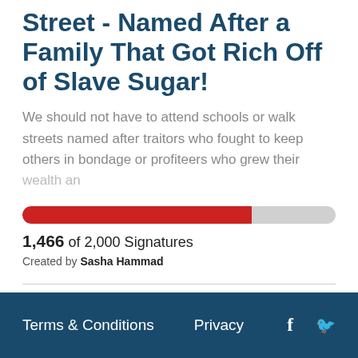Street - Named After a Family That Got Rich Off of Slave Sugar!
We should not have to attend schools or walk streets named after traitors who fought to keep others in bondage or profiteers who grew their wealth an
[Figure (other): Progress bar showing 1,466 of 2,000 signatures, approximately 73% filled in red]
1,466 of 2,000 Signatures
Created by Sasha Hammad
← Previous  1  2  Next →
Terms & Conditions   Privacy   f   🐦